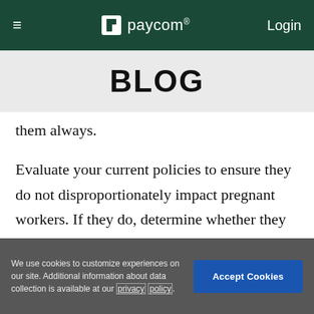≡  paycom®  Login
BLOG
them always.
Evaluate your current policies to ensure they do not disproportionately impact pregnant workers. If they do, determine whether they are necessary for the business's operations. Include policies related to reasonable accommodations, benefits, paid or unpaid
We use cookies to customize experiences on our site. Additional information about data collection is available at our privacy policy.